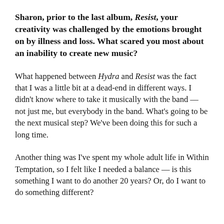Sharon, prior to the last album, Resist, your creativity was challenged by the emotions brought on by illness and loss. What scared you most about an inability to create new music?
What happened between Hydra and Resist was the fact that I was a little bit at a dead-end in different ways. I didn't know where to take it musically with the band — not just me, but everybody in the band. What's going to be the next musical step? We've been doing this for such a long time.
Another thing was I've spent my whole adult life in Within Temptation, so I felt like I needed a balance — is this something I want to do another 20 years? Or, do I want to do something different?